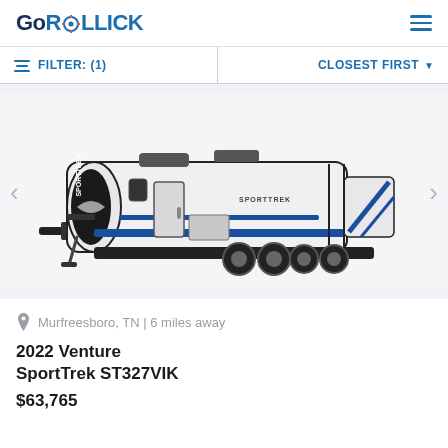GoROLLICK
FILTER: (1)   CLOSEST FIRST
[Figure (photo): White Venture SportTrek ST327VIK travel trailer RV shown in a 3/4 side view against a white background, with blue accent stripes and dual axle wheels]
Murfreesboro, TN | 6 miles away
2022 Venture SportTrek ST327VIK
$63,765